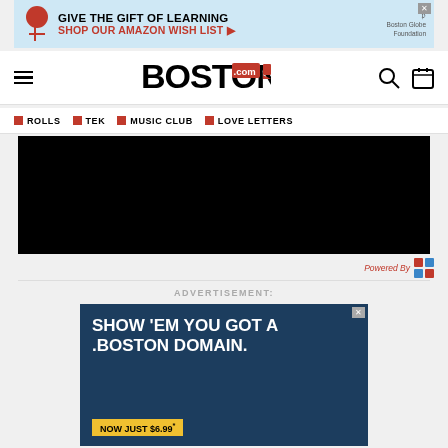[Figure (other): Top advertisement banner: GIVE THE GIFT OF LEARNING / SHOP OUR AMAZON WISH LIST with Boston Globe Foundation logo]
BOSTON .com — navigation bar with hamburger menu, search icon, and calendar icon
ROLLS | TEK | MUSIC CLUB | LOVE LETTERS
[Figure (other): Black video player embed area]
Powered By
ADVERTISEMENT:
[Figure (other): Advertisement: SHOW 'EM YOU GOT A .BOSTON DOMAIN. NOW JUST $6.99*]